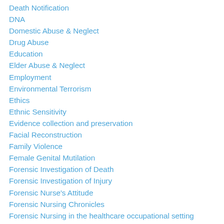Death Notification
DNA
Domestic Abuse & Neglect
Drug Abuse
Education
Elder Abuse & Neglect
Employment
Environmental Terrorism
Ethics
Ethnic Sensitivity
Evidence collection and preservation
Facial Reconstruction
Family Violence
Female Genital Mutilation
Forensic Investigation of Death
Forensic Investigation of Injury
Forensic Nurse's Attitude
Forensic Nursing Chronicles
Forensic Nursing in the healthcare occupational setting
Forensic Nursing Specialty